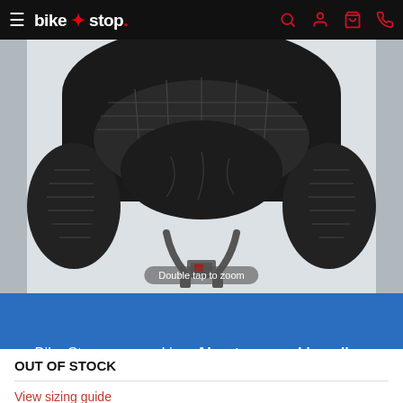bike stop
[Figure (photo): Close-up interior view of a black leather motorcycle open-face helmet showing quilted padding, chin strap with buckle, white background. 'Double tap to zoom' label visible at bottom.]
Bike Stop uses cookies. About our cookie policy.
ALLOW COOKIES
OUT OF STOCK
View sizing guide